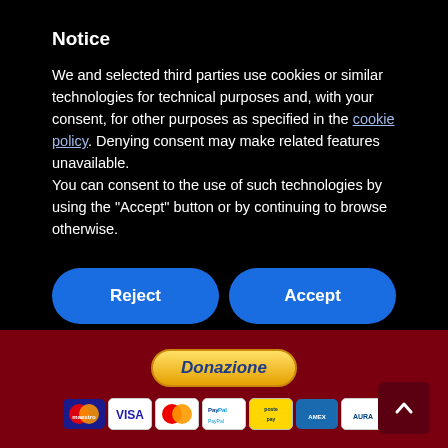Notice
We and selected third parties use cookies or similar technologies for technical purposes and, with your consent, for other purposes as specified in the cookie policy. Denying consent may make related features unavailable.
You can consent to the use of such technologies by using the "Accept" button or by continuing to browse otherwise.
Reject
Accept
Learn more and customize
[Figure (other): Donazione donation button with payment method icons including Maestro, Visa, MasterCard, PayPal, Postepay, American Express, Aura]
[Figure (other): Scroll to top button with upward arrow icon]